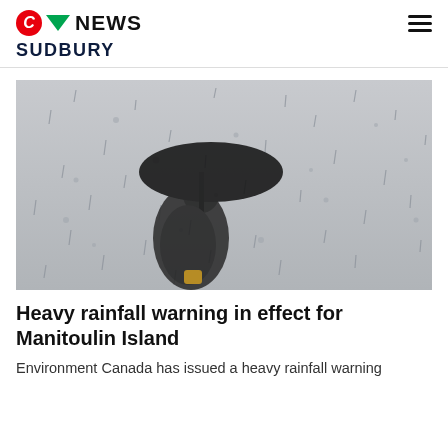CTV NEWS - SUDBURY
[Figure (photo): A person holding a black umbrella photographed through a rain-covered window with raindrops visible on the glass, grey rainy background]
Heavy rainfall warning in effect for Manitoulin Island
Environment Canada has issued a heavy rainfall warning